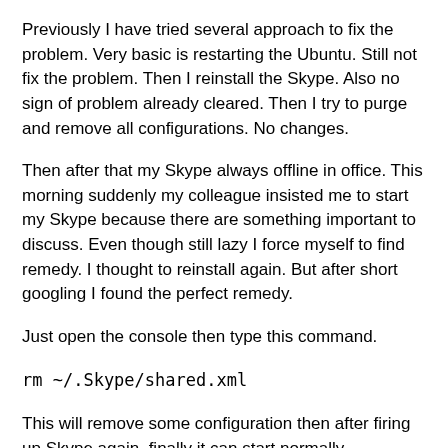Previously I have tried several approach to fix the problem. Very basic is restarting the Ubuntu. Still not fix the problem. Then I reinstall the Skype. Also no sign of problem already cleared. Then I try to purge and remove all configurations. No changes.
Then after that my Skype always offline in office. This morning suddenly my colleague insisted me to start my Skype because there are something important to discuss. Even though still lazy I force myself to find remedy. I thought to reinstall again. But after short googling I found the perfect remedy.
Just open the console then type this command.
rm ~/.Skype/shared.xml
This will remove some configuration then after firing up Skype again, finally it can start normally.
Yipie.